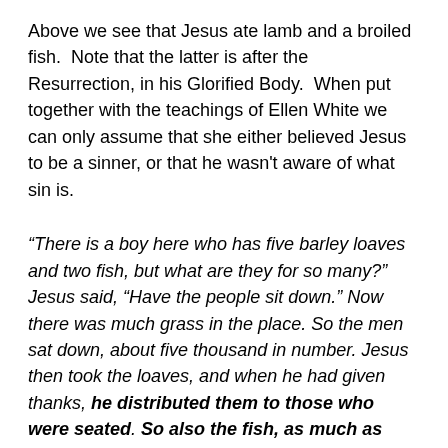Above we see that Jesus ate lamb and a broiled fish. Note that the latter is after the Resurrection, in his Glorified Body. When put together with the teachings of Ellen White we can only assume that she either believed Jesus to be a sinner, or that he wasn't aware of what sin is.
“There is a boy here who has five barley loaves and two fish, but what are they for so many?” Jesus said, “Have the people sit down.” Now there was much grass in the place. So the men sat down, about five thousand in number. Jesus then took the loaves, and when he had given thanks, he distributed them to those who were seated. So also the fish, as much as they wanted. And when they had eaten their fill, he told his disciples, “Gather